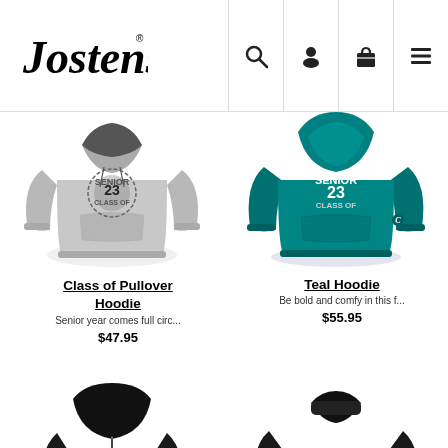Jostens — navigation header with search, account, cart, and menu icons
[Figure (photo): Gray Class of 2023 Pullover Hoodie]
Class of Pullover Hoodie
Senior year comes full circ...
$47.95
[Figure (photo): Teal Senior 23 Class Of Hoodie]
Teal Hoodie
Be bold and comfy in this f...
$55.95
[Figure (photo): Black zip-up hoodie with Class of 23 logo]
[Figure (photo): Black senior crewneck sweatshirt with SENIOR text]